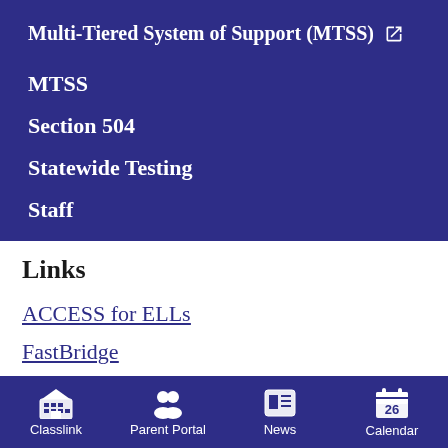Multi-Tiered System of Support (MTSS) ↗
MTSS
Section 504
Statewide Testing
Staff
Links
ACCESS for ELLs
FastBridge
GKIDS
Classlink  Parent Portal  News  Calendar